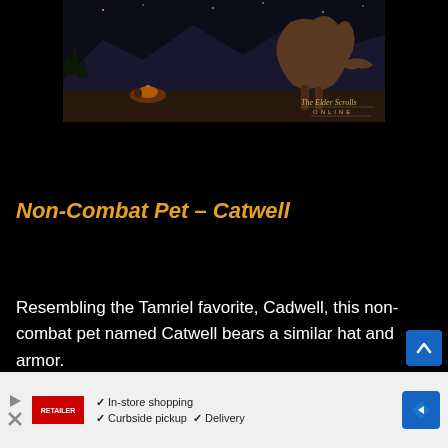[Figure (photo): The Elder Scrolls Online game art showing a night scene with a campfire and a large creature, with The Elder Scrolls Online logo watermark]
Non-Combat Pet – Catwell
Resembling the Tamriel favorite, Cadwell, this non-combat pet named Catwell bears a similar hat and armor.
This item will be available in the Crown Store for a limited time across all platforms from April 4 to April 11 at 10am EDT.
[Figure (screenshot): Video advertisement overlay: Movie Web logo and RoboCop Gets a Videogame trailer with play button]
Non-Combat Pet – Sab…
[Figure (infographic): Bottom advertisement bar: In-store shopping, Curbside pickup, Delivery checkmarks with retailer logo and navigation arrow]